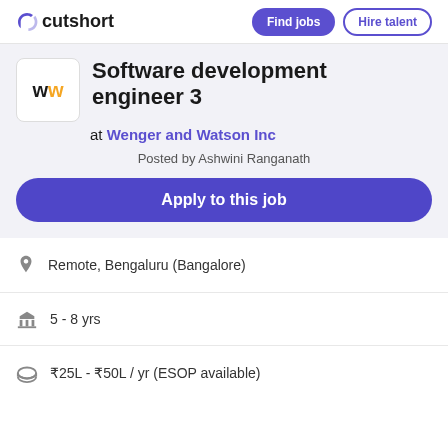cutshort | Find jobs | Hire talent
Software development engineer 3
at Wenger and Watson Inc
Posted by Ashwini Ranganath
Apply to this job
Remote, Bengaluru (Bangalore)
5 - 8 yrs
₹25L - ₹50L / yr (ESOP available)